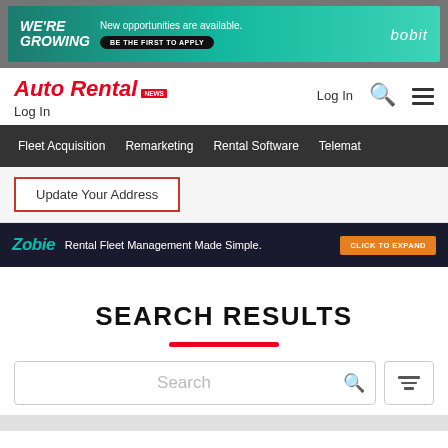[Figure (screenshot): Advertisement banner for Bobit with teal background: 'WE'RE GROWING', 'New opportunities are available.', 'BE THE FIRST TO APPLY', 'bobit' logo]
Auto Rental News | Log In | Search | Menu
Log In
Fleet Acquisition   Remarketing   Rental Software   Telemat
Update Your Address
[Figure (screenshot): Zobie ad: 'Rental Fleet Management Made Simple.' with orange 'CLICK TO EXPAND' button]
SEARCH RESULTS
Search